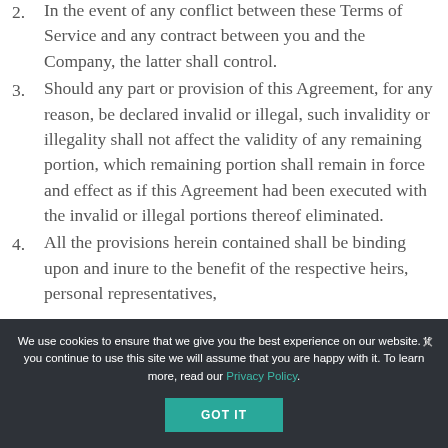2. In the event of any conflict between these Terms of Service and any contract between you and the Company, the latter shall control.
3. Should any part or provision of this Agreement, for any reason, be declared invalid or illegal, such invalidity or illegality shall not affect the validity of any remaining portion, which remaining portion shall remain in force and effect as if this Agreement had been executed with the invalid or illegal portions thereof eliminated.
4. All the provisions herein contained shall be binding upon and inure to the benefit of the respective heirs, personal representatives,
We use cookies to ensure that we give you the best experience on our website. If you continue to use this site we will assume that you are happy with it. To learn more, read our Privacy Policy.